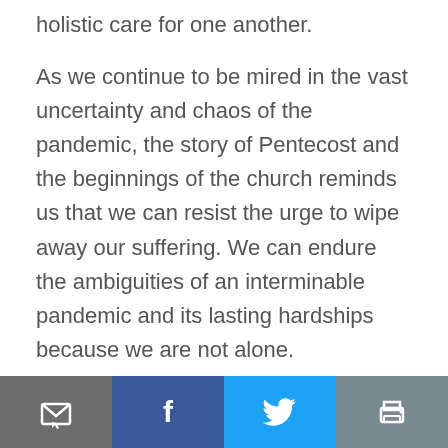holistic care for one another.
As we continue to be mired in the vast uncertainty and chaos of the pandemic, the story of Pentecost and the beginnings of the church reminds us that we can resist the urge to wipe away our suffering. We can endure the ambiguities of an interminable pandemic and its lasting hardships because we are not alone.
We have permission to return to the grief and anger, because it has a place in the story of Jesus
Email | Facebook | Twitter | Print